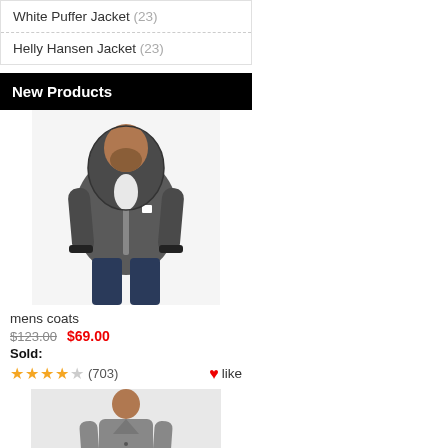White Puffer Jacket (23)
Helly Hansen Jacket (23)
New Products
[Figure (photo): Man wearing a dark grey hooded zip-up jacket over a white t-shirt and dark jeans]
mens coats
$123.00  $69.00
Sold:
★★★★☆ (703)  ♥like
[Figure (photo): Person wearing a grey long coat, partially visible]